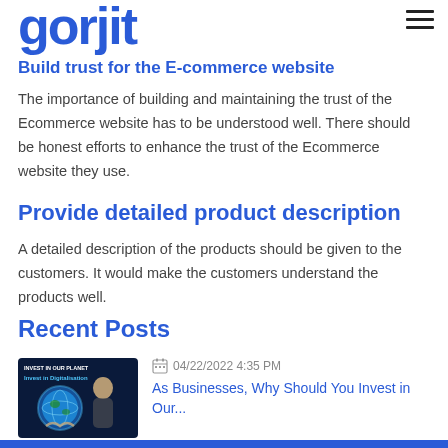gorjit
Build trust for the E-commerce website
The importance of building and maintaining the trust of the Ecommerce website has to be understood well. There should be honest efforts to enhance the trust of the Ecommerce website they use.
Provide detailed product description
A detailed description of the products should be given to the customers. It would make the customers understand the products well.
Recent Posts
[Figure (photo): Thumbnail image showing a child holding a glowing globe with text 'Invest in Digitalisation' on dark background]
04/22/2022 4:35 PM
As Businesses, Why Should You Invest in Our...